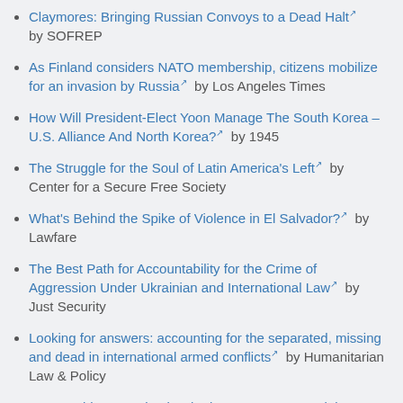Claymores: Bringing Russian Convoys to a Dead Halt by SOFREP
As Finland considers NATO membership, citizens mobilize for an invasion by Russia by Los Angeles Times
How Will President-Elect Yoon Manage The South Korea – U.S. Alliance And North Korea? by 1945
The Struggle for the Soul of Latin America's Left by Center for a Secure Free Society
What's Behind the Spike of Violence in El Salvador? by Lawfare
The Best Path for Accountability for the Crime of Aggression Under Ukrainian and International Law by Just Security
Looking for answers: accounting for the separated, missing and dead in international armed conflicts by Humanitarian Law & Policy
Is Genocide Occurring in Ukraine? An Expert Explainer on Indicators and Assessments by Just Security